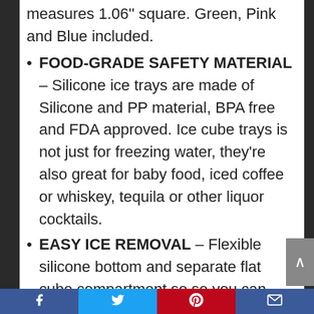measures 1.06'' square. Green, Pink and Blue included.
FOOD-GRADE SAFETY MATERIAL – Silicone ice trays are made of Silicone and PP material, BPA free and FDA approved. Ice cube trays is not just for freezing water, they're also great for baby food, iced coffee or whiskey, tequila or other liquor cocktails.
EASY ICE REMOVAL – Flexible silicone bottom and separate flat cube compartment so so you can easily push from the bottom and
Facebook | Twitter | Pinterest | Email